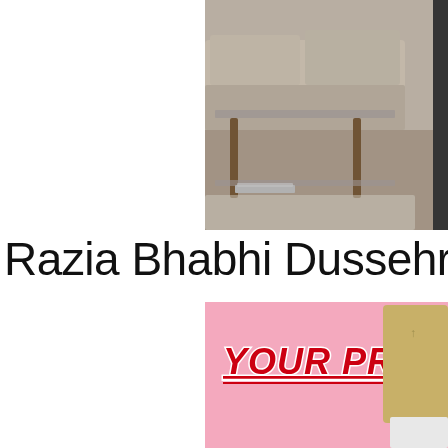[Figure (photo): Indoor room scene showing a glass coffee table with books underneath, a sofa with cushions in the background, and what appears to be a rug on the floor. Image is cropped to the right portion of the page.]
Razia Bhabhi Dussehra
[Figure (photo): Pink background image with stylized red italic underlined text 'YOUR PRIYA' and a tan/gold colored card or book on the right side.]